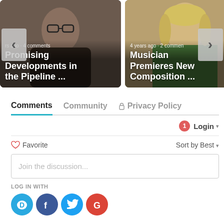[Figure (screenshot): Carousel card showing a man with glasses, article titled 'Promising Developments in the Pipeline ...' with metadata 'rs ago · 4 comments']
[Figure (screenshot): Carousel card showing a woman smiling, article titled 'Musician Premieres New Composition ...' with metadata '4 years ago · 2 comments']
Comments   Community   🔒 Privacy Policy
Login ▾
♡ Favorite
Sort by Best ▾
Join the discussion...
LOG IN WITH
[Figure (logo): Social login icons: Disqus (D), Facebook (f), Twitter bird, Google (G)]